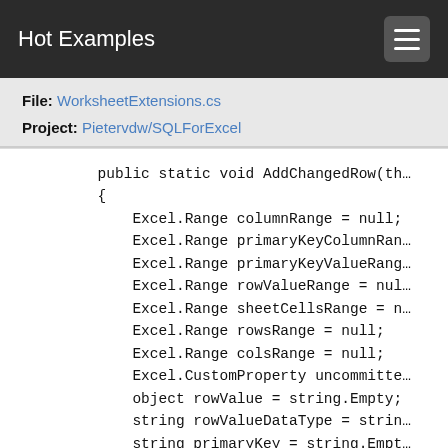Hot Examples
File: WorksheetExtensions.cs
Project: Pietervdw/SQLForExcel
[Figure (screenshot): Code snippet showing C# method AddChangedRow with variable declarations using Excel.Range, Excel.CustomProperty, object, and string types.]